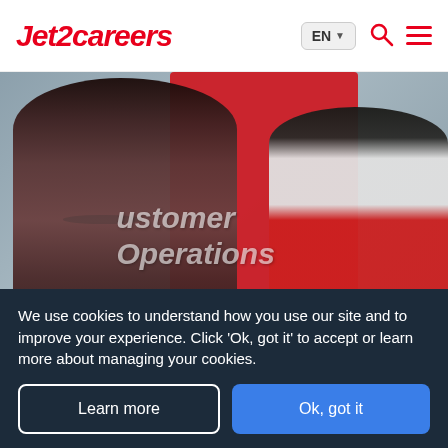Jet2careers — EN language selector, search icon, menu icon
[Figure (photo): Two smiling employees in front of a red cylindrical banner. The banner overlaid text reads 'Customer Operations'. A search bar is partially visible at the bottom of the image.]
We use cookies to understand how you use our site and to improve your experience. Click 'Ok, got it' to accept or learn more about managing your cookies.
Learn more
Ok, got it